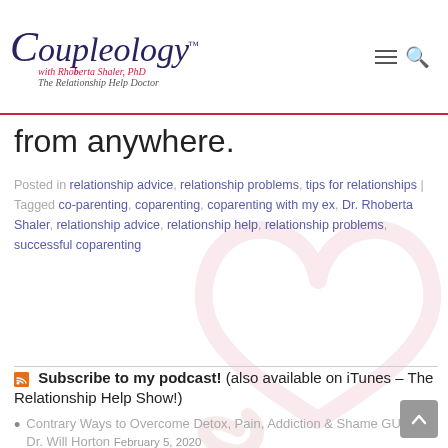[Figure (logo): Coupleology logo with cursive text, subtitle 'with Rhoberta Shaler, PhD' and tagline 'The Relationship Help Doctor']
from anywhere.
Posted in relationship advice, relationship problems, tips for relationships | Tagged co-parenting, coparenting, coparenting with my ex, Dr. Rhoberta Shaler, relationship advice, relationship help, relationship problems, successful coparenting
Subscribe to my podcast! (also available on iTunes – The Relationship Help Show!)
Contrary Ways to Overcome Detox, Pain, Addiction & Shame GUEST: Dr. Will Horton February 5, 2020